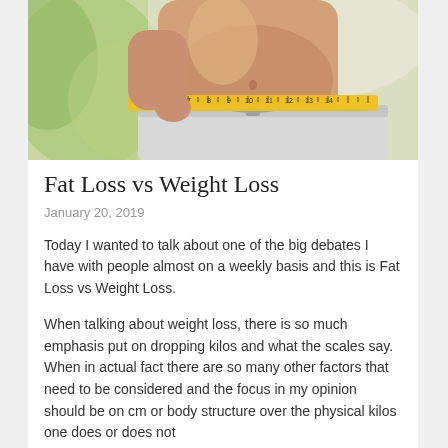[Figure (photo): Person measuring their waist with a yellow tape measure, wearing light grey sweatpants, green blurred background outdoors]
Fat Loss vs Weight Loss
January 20, 2019
Today I wanted to talk about one of the big debates I have with people almost on a weekly basis and this is Fat Loss vs Weight Loss.
When talking about weight loss, there is so much emphasis put on dropping kilos and what the scales say. When in actual fact there are so many other factors that need to be considered and the focus in my opinion should be on cm or body structure over the physical kilos one does or does not